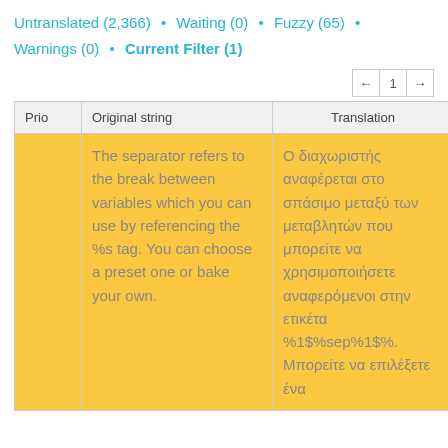Untranslated (2,366) • Waiting (0) • Fuzzy (65) • Warnings (0) • Current Filter (1)
| Prio | Original string | Translation | — |
| --- | --- | --- | --- |
|  | The separator refers to the break between variables which you can use by referencing the %s tag. You can choose a preset one or bake your own. | Ο διαχωριστής αναφέρεται στο σπάσιμο μεταξύ των μεταβλητών που μπορείτε να χρησιμοποιήσετε αναφερόμενοι στην ετικέτα %1$%sep%1$%. Μπορείτε να επιλέξετε ένα | Details |